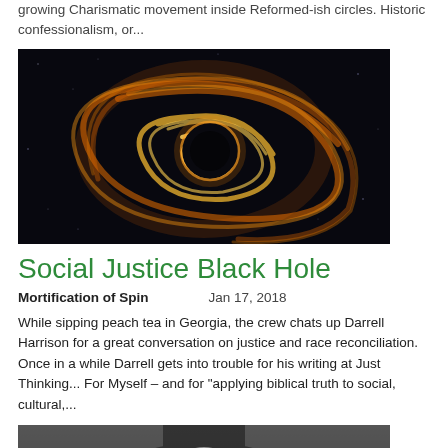growing Charismatic movement inside Reformed-ish circles. Historic confessionalism, or...
[Figure (photo): Glowing orange and gold light trails forming a swirling, rose-like knot shape against a dark space background with faint stars — representing a 'black hole' or abstract energy vortex.]
Social Justice Black Hole
Mortification of Spin    Jan 17, 2018
While sipping peach tea in Georgia, the crew chats up Darrell Harrison for a great conversation on justice and race reconciliation. Once in a while Darrell gets into trouble for his writing at Just Thinking... For Myself – and for "applying biblical truth to social, cultural,...
[Figure (photo): Black and white portrait photograph of a person wearing a hat, partially visible at the bottom of the page.]